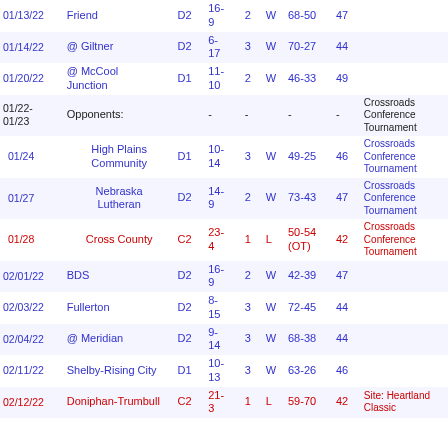| Date | Opponent | Class | Record | Q | W/L | Score | Pts | Note |
| --- | --- | --- | --- | --- | --- | --- | --- | --- |
| 01/13/22 | Friend | D2 | 16-9 | 2 | W | 68-50 | 47 |  |
| 01/14/22 | @ Giltner | D2 | 6-17 | 3 | W | 70-27 | 44 |  |
| 01/20/22 | @ McCool Junction | D1 | 11-10 | 2 | W | 46-33 | 49 |  |
| 01/22-01/23 | Opponents: |  | - | - |  | - | - | Crossroads Conference Tournament |
| 01/24 | High Plains Community | D1 | 10-14 | 3 | W | 49-25 | 46 | Crossroads Conference Tournament |
| 01/27 | Nebraska Lutheran | D2 | 14-9 | 2 | W | 73-43 | 47 | Crossroads Conference Tournament |
| 01/28 | Cross County | C2 | 23-4 | 1 | L | 50-54 (OT) | 42 | Crossroads Conference Tournament |
| 02/01/22 | BDS | D2 | 16-9 | 2 | W | 42-39 | 47 |  |
| 02/03/22 | Fullerton | D2 | 8-15 | 3 | W | 72-45 | 44 |  |
| 02/04/22 | @ Meridian | D2 | 9-14 | 3 | W | 68-38 | 44 |  |
| 02/11/22 | Shelby-Rising City | D1 | 10-13 | 3 | W | 63-26 | 46 |  |
| 02/12/22 | Doniphan-Trumbull | C2 | 21-3 | 1 | L | 59-70 | 42 | Site: Heartland Classic |